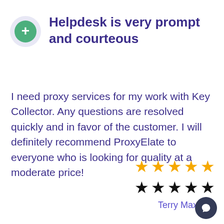Helpdesk is very prompt and courteous
I need proxy services for my work with Key Collector. Any questions are resolved quickly and in favor of the customer. I will definitely recommend ProxyElate to everyone who is looking for quality at a moderate price!
[Figure (other): Five gold stars rating row]
[Figure (other): Five black stars rating row]
Terry Maxwell